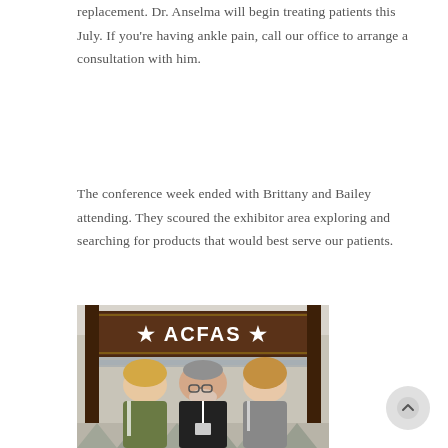replacement. Dr. Anselma will begin treating patients this July. If you're having ankle pain, call our office to arrange a consultation with him.
The conference week ended with Brittany and Bailey attending. They scoured the exhibitor area exploring and searching for products that would best serve our patients.
[Figure (photo): Three people posing in front of an ACFAS (American College of Foot and Ankle Surgeons) conference sign. Two women flank a man in the center. The sign reads '★ ACFAS ★' in white letters on a dark brown background.]